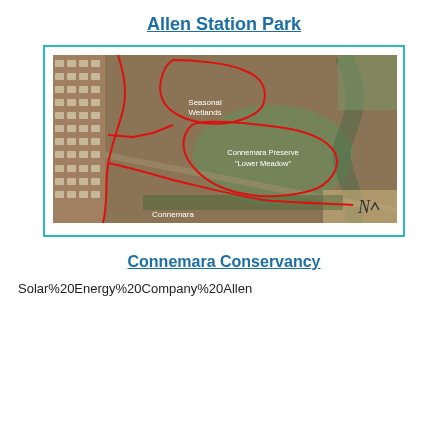Allen Station Park
[Figure (map): Aerial satellite map of Allen Station Park showing Connemara Preserve 'Lower Meadow' and Seasonal Wetlands areas outlined in red, with residential area to the west and a north arrow indicator. Labels include 'Seasonal Wetlands', 'Connemara Preserve "Lower Meadow"', and 'Connemara' at the bottom.]
Connemara Conservancy
Solar%20Energy%20Company%20Allen